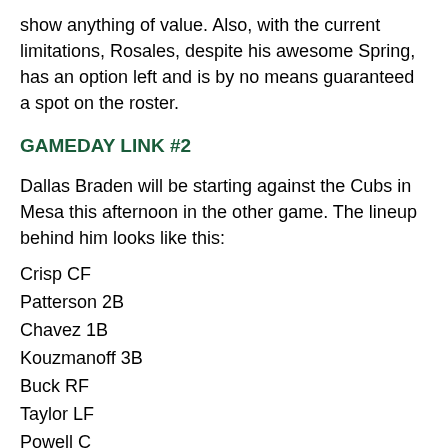show anything of value. Also, with the current limitations, Rosales, despite his awesome Spring, has an option left and is by no means guaranteed a spot on the roster.
GAMEDAY LINK #2
Dallas Braden will be starting against the Cubs in Mesa this afternoon in the other game. The lineup behind him looks like this:
Crisp CF
Patterson 2B
Chavez 1B
Kouzmanoff 3B
Buck RF
Taylor LF
Powell C